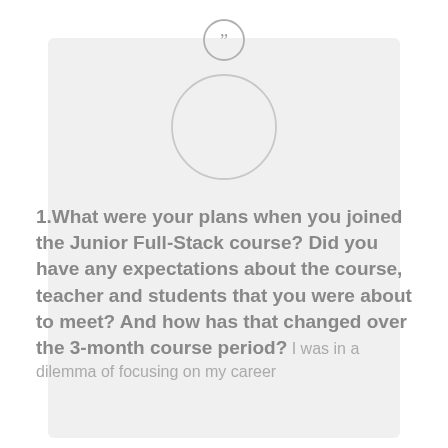[Figure (illustration): Quotation mark icon (closing double quotation marks) inside a circle, placed at the top center of a light gray card]
[Figure (illustration): Empty circular avatar placeholder, light gray with a gray border, centered below the quote icon]
1.What were your plans when you joined the Junior Full-Stack course? Did you have any expectations about the course, teacher and students that you were about to meet? And how has that changed over the 3-month course period? I was in a dilemma of focusing on my career